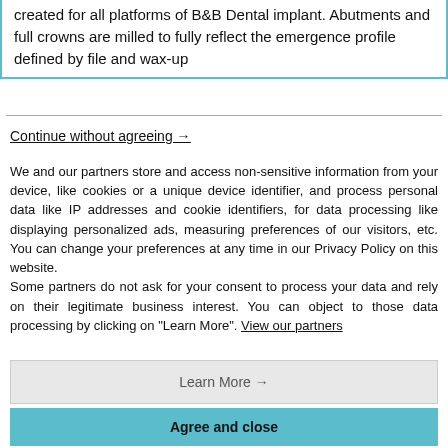created for all platforms of B&B Dental implant. Abutments and full crowns are milled to fully reflect the emergence profile defined by file and wax-up
Continue without agreeing →
We and our partners store and access non-sensitive information from your device, like cookies or a unique device identifier, and process personal data like IP addresses and cookie identifiers, for data processing like displaying personalized ads, measuring preferences of our visitors, etc. You can change your preferences at any time in our Privacy Policy on this website. Some partners do not ask for your consent to process your data and rely on their legitimate business interest. You can object to those data processing by clicking on "Learn More". View our partners
Learn More →
Agree and close